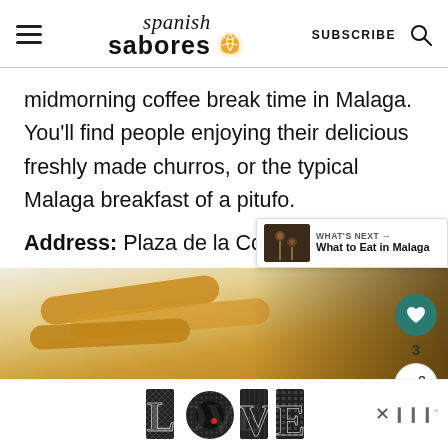Spanish Sabores — SUBSCRIBE
midmorning coffee break time in Malaga. You'll find people enjoying their delicious freshly made churros, or the typical Malaga breakfast of a pitufo.
Address: Plaza de la Constitución, 11
[Figure (photo): Photo of churros on a white plate, close-up, golden fried dough]
[Figure (infographic): WHAT'S NEXT arrow callout with thumbnail showing skewers/food, text: What to Eat in Malaga]
[Figure (photo): Advertisement banner showing LOVE text art decoration with ornate letter designs]